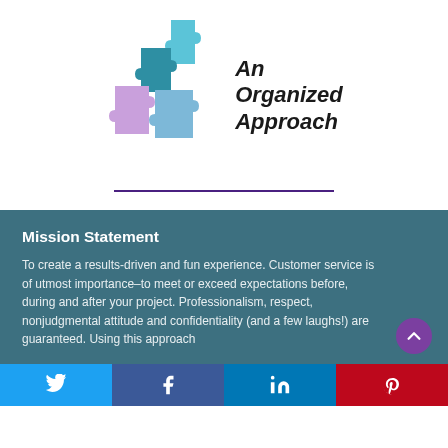[Figure (logo): An Organized Approach logo with colorful puzzle pieces (light blue, teal, purple, mauve) and handwritten-style text reading 'An Organized Approach']
Mission Statement
To create a results-driven and fun experience. Customer service is of utmost importance–to meet or exceed expectations before, during and after your project. Professionalism, respect, nonjudgmental attitude and confidentiality (and a few laughs!) are guaranteed. Using this approach
[Figure (infographic): Social media share bar with Twitter (blue), Facebook (dark blue), LinkedIn (blue), and Pinterest (red) icons]